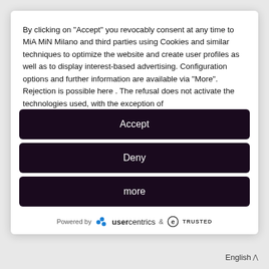By clicking on "Accept" you revocably consent at any time to MiA MiN Milano and third parties using Cookies and similar techniques to optimize the website and create user profiles as well as to display interest-based advertising. Configuration options and further information are available via "More". Rejection is possible here . The refusal does not activate the technologies used, with the exception of
Accept
Deny
more
Powered by · usercentrics & etrustED
English ^